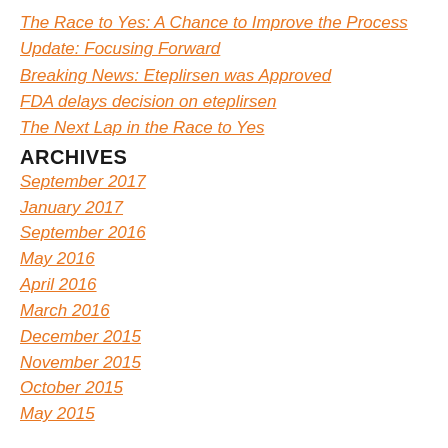The Race to Yes: A Chance to Improve the Process
Update: Focusing Forward
Breaking News: Eteplirsen was Approved
FDA delays decision on eteplirsen
The Next Lap in the Race to Yes
ARCHIVES
September 2017
January 2017
September 2016
May 2016
April 2016
March 2016
December 2015
November 2015
October 2015
May 2015